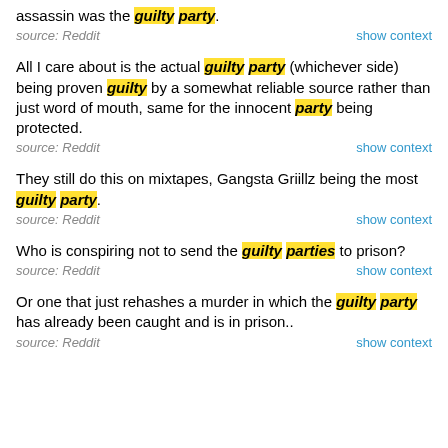assassin was the guilty party.
source: Reddit   show context
All I care about is the actual guilty party (whichever side) being proven guilty by a somewhat reliable source rather than just word of mouth, same for the innocent party being protected.
source: Reddit   show context
They still do this on mixtapes, Gangsta Griillz being the most guilty party.
source: Reddit   show context
Who is conspiring not to send the guilty parties to prison?
source: Reddit   show context
Or one that just rehashes a murder in which the guilty party has already been caught and is in prison..
source: Reddit   show context